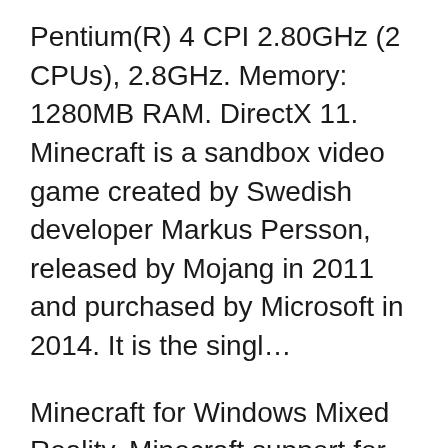Pentium(R) 4 CPI 2.80GHz (2 CPUs), 2.8GHz. Memory: 1280MB RAM. DirectX 11. Minecraft is a sandbox video game created by Swedish developer Markus Persson, released by Mojang in 2011 and purchased by Microsoft in 2014. It is the singl...
Minecraft for Windows Mixed Reality. Minecraft support for Windows Mixed Reality comes free with Minecraft on Windows 10, bringing you all the features you know and love – including cross-platform play ... Minecraft is a game that comes equipped with OTB(Out of the Box)/Ready to play controls to help you squeeze out every little advantage to beat your competition (Or play comfortably if the game is